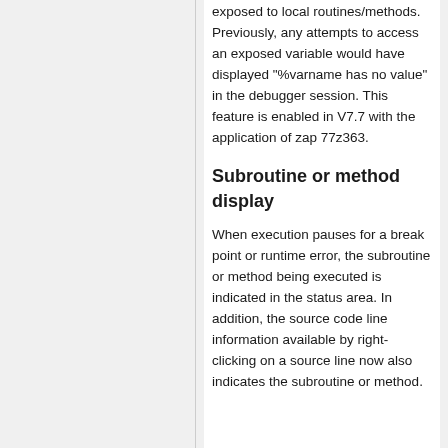exposed to local routines/methods. Previously, any attempts to access an exposed variable would have displayed "%varname has no value" in the debugger session. This feature is enabled in V7.7 with the application of zap 77z363.
Subroutine or method display
When execution pauses for a break point or runtime error, the subroutine or method being executed is indicated in the status area. In addition, the source code line information available by right-clicking on a source line now also indicates the subroutine or method.